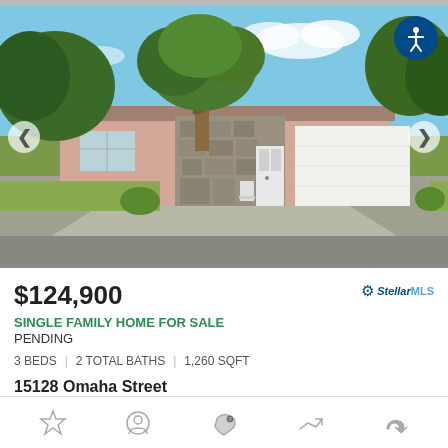[Figure (photo): Exterior photo of a single-family home with a stone facade, large tree in front, white garage door, and concrete driveway. Blue sky with clouds visible. Navigation arrows on left and right sides. Accessibility button in top-right corner.]
$124,900
SINGLE FAMILY HOME FOR SALE
PENDING
3 BEDS | 2 TOTAL BATHS | 1,260 SQFT
15128 Omaha Street
Hudson, FL 34667
Taylor Terrace Subdivision